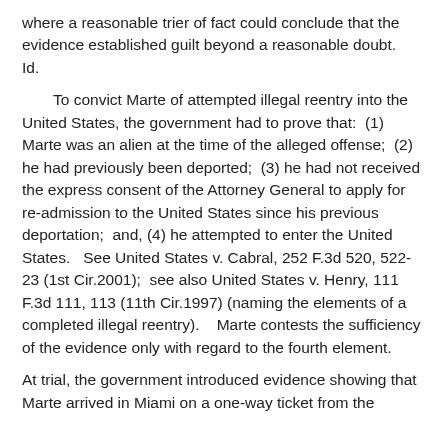where a reasonable trier of fact could conclude that the evidence established guilt beyond a reasonable doubt.   Id.
To convict Marte of attempted illegal reentry into the United States, the government had to prove that:  (1) Marte was an alien at the time of the alleged offense;  (2) he had previously been deported;  (3) he had not received the express consent of the Attorney General to apply for re-admission to the United States since his previous deportation;  and, (4) he attempted to enter the United States.   See United States v. Cabral, 252 F.3d 520, 522-23 (1st Cir.2001);  see also United States v. Henry, 111 F.3d 111, 113 (11th Cir.1997) (naming the elements of a completed illegal reentry).    Marte contests the sufficiency of the evidence only with regard to the fourth element.
At trial, the government introduced evidence showing that Marte arrived in Miami on a one-way ticket from the